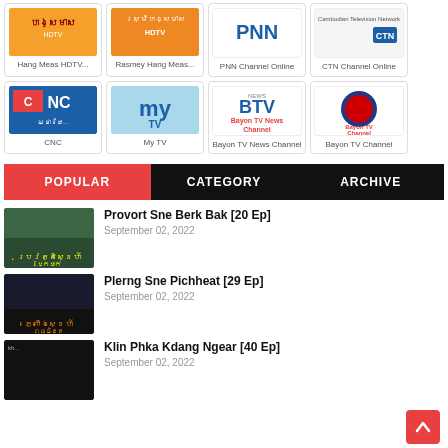[Figure (screenshot): Grid of TV channel logos: Hang Meas HDTV, Rasmey Hang Meas, PNN Channel Online, CTN Channel Online (top row); CNC, My TV, Bayon TV News Channel, Bayon TV Channel (second row)]
POPULAR | CATEGORY | ARCHIVE navigation bar
Provort Sne Berk Bak [20 Ep] — September 02, 2022
Plerng Sne Pichheat [29 Ep] — September 02, 2022
Klin Phka Kdang Ngear [40 Ep] — September 02, 2022